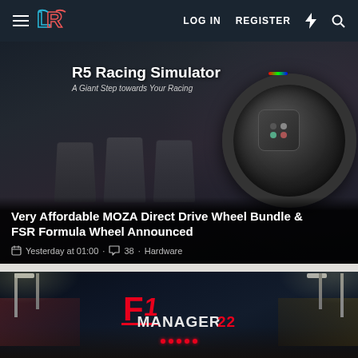LOG IN  REGISTER
[Figure (screenshot): R5 Racing Simulator product shot with pedals and steering wheel on dark background, text: R5 Racing Simulator / A Giant Step towards Your Racing]
Very Affordable MOZA Direct Drive Wheel Bundle & FSR Formula Wheel Announced
Yesterday at 01:00 · 38 · Hardware
[Figure (screenshot): F1 Manager 22 promotional banner showing F1 race circuit at night with crowd in stands]